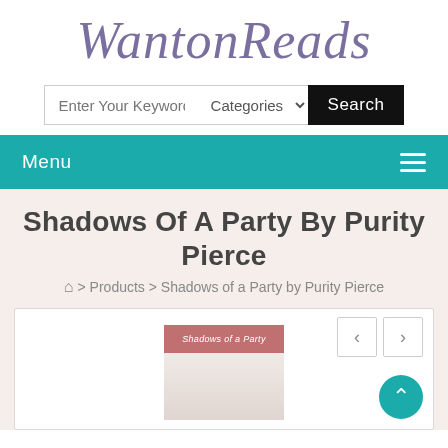WantonReads
Enter Your Keyword | Categories | Search
Menu
Shadows Of A Party By Purity Pierce
> Products > Shadows of a Party by Purity Pierce
[Figure (photo): Book cover image for 'Shadows of a Party' by Purity Pierce, showing title text on a dark reddish banner at top, with a partial figure below on a light background.]